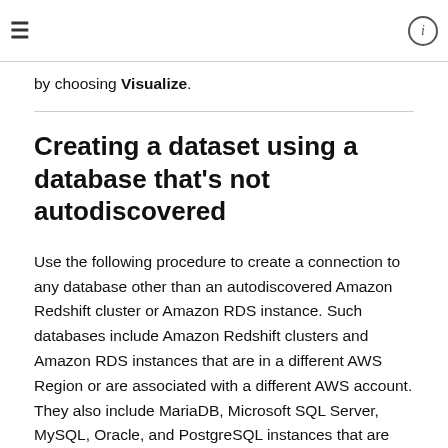≡  ⓘ
by choosing Visualize.
Creating a dataset using a database that's not autodiscovered
Use the following procedure to create a connection to any database other than an autodiscovered Amazon Redshift cluster or Amazon RDS instance. Such databases include Amazon Redshift clusters and Amazon RDS instances that are in a different AWS Region or are associated with a different AWS account. They also include MariaDB, Microsoft SQL Server, MySQL, Oracle, and PostgreSQL instances that are on-premises, in Amazon EC2, or in some other accessible